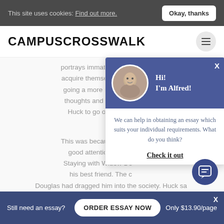This site uses cookies: Find out more. | Okay, thanks
CAMPUSCROSSWALK
portrays immatureness … acquire themselves ou… going a more mature in… thoughts and pointsDai… Huck to go on remain… m…
This was because, Tom b… good attention of him a… Staying with Widow Do… his best friend. The c… Douglas had dragged him into the society. Huck sa… Widow Douglas 's life from Injun Joe and as a return t…
[Figure (screenshot): Chat popup with avatar of Alfred, greeting 'Hi! I'm Alfred!', message: 'We can help in obtaining an essay which suits your individual requirements. What do you think?', and a 'Check it out' link]
Still need an essay? ORDER ESSAY NOW Only $13.90/page